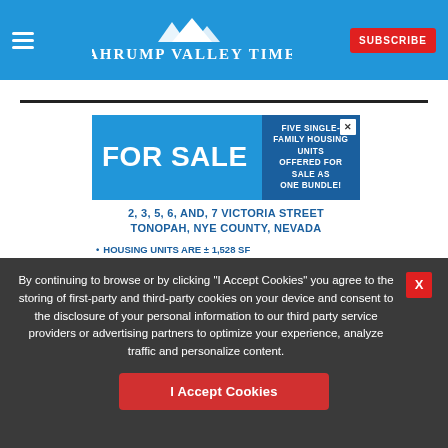Pahrump Valley Times | SUBSCRIBE
[Figure (infographic): For Sale advertisement: Five single-family housing units offered for sale as one bundle at 2, 3, 5, 6, and 7 Victoria Street, Tonopah, Nye County, Nevada. Housing units are ±1,528 SF. Total ±7,640 SF/±0.96 acres. Each unit has 2 BR and 1 BA with detached garage/shed. Offered by sealed bid sale. RealEstateSales.gov]
By continuing to browse or by clicking "I Accept Cookies" you agree to the storing of first-party and third-party cookies on your device and consent to the disclosure of your personal information to our third party service providers or advertising partners to optimize your experience, analyze traffic and personalize content.
I Accept Cookies